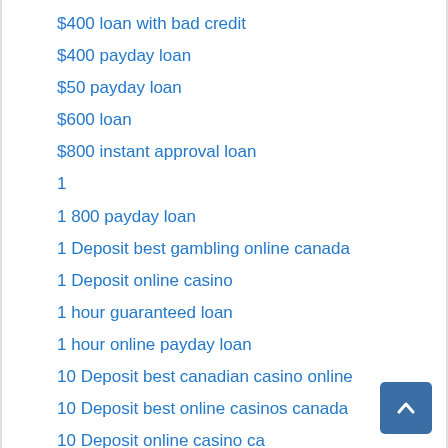$400 loan with bad credit
$400 payday loan
$50 payday loan
$600 loan
$800 instant approval loan
1
1 800 payday loan
1 Deposit best gambling online canada
1 Deposit online casino
1 hour guaranteed loan
1 hour online payday loan
10 Deposit best canadian casino online
10 Deposit best online casinos canada
10 Deposit online casino ca